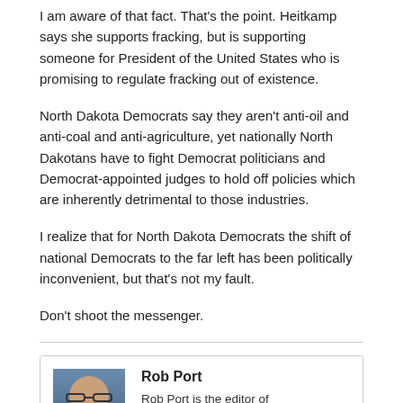I am aware of that fact. That's the point. Heitkamp says she supports fracking, but is supporting someone for President of the United States who is promising to regulate fracking out of existence.
North Dakota Democrats say they aren't anti-oil and anti-coal and anti-agriculture, yet nationally North Dakotans have to fight Democrat politicians and Democrat-appointed judges to hold off policies which are inherently detrimental to those industries.
I realize that for North Dakota Democrats the shift of national Democrats to the far left has been politically inconvenient, but that's not my fault.
Don't shoot the messenger.
[Figure (photo): Headshot photo of Rob Port, a man with glasses and beard wearing a dark suit jacket]
Rob Port
Rob Port is the editor of SayAnythingBlog.com, a columnist for the Forum News Service, and host